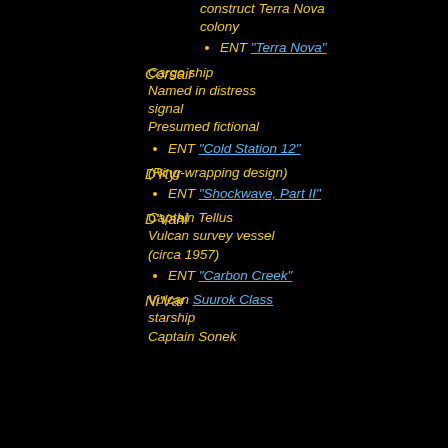construct Terra Nova colony
ENT "Terra Nova"
Corsair
Cargo ship
Named in distress signal
Presumed fictional
ENT "Cold Station 12"
D'Kyr
(Ring-wrapping design)
ENT "Shockwave, Part II"
D'Vahl
Captain Tellus
Vulcan survey vessel
(circa 1957)
ENT "Carbon Creek"
Ni'Var
Vulcan Suurok Class starship
Captain Sonek